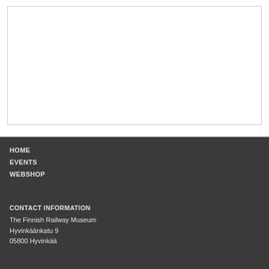[Figure (other): Empty white image placeholder with light gray border]
HOME
EVENTS
WEBSHOP
CONTACT INFORMATION
The Finnish Railway Museum
Hyvinkäänkatu 9
05800 Hyvinkää